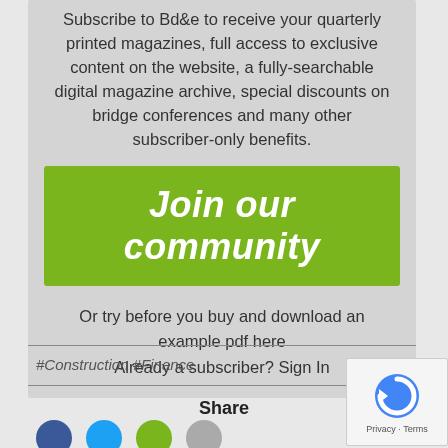Subscribe to Bd&e to receive your quarterly printed magazines, full access to exclusive content on the website, a fully-searchable digital magazine archive, special discounts on bridge conferences and many other subscriber-only benefits.
Join our community
Or try before you buy and download an example pdf here
Already a subscriber? Sign In
#Construction #Finance
Share